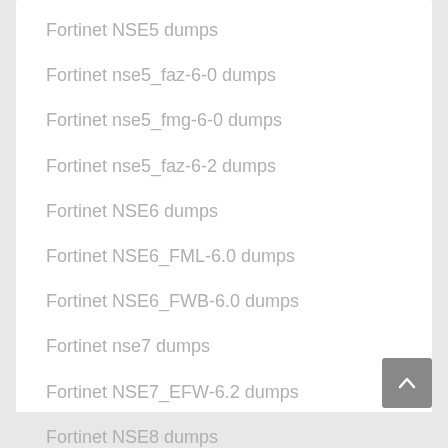Fortinet NSE5 dumps
Fortinet nse5_faz-6-0 dumps
Fortinet nse5_fmg-6-0 dumps
Fortinet nse5_faz-6-2 dumps
Fortinet NSE6 dumps
Fortinet NSE6_FML-6.0 dumps
Fortinet NSE6_FWB-6.0 dumps
Fortinet nse7 dumps
Fortinet NSE7_EFW-6.2 dumps
Fortinet NSE8 dumps
Fortinet NSE8_811 dumps